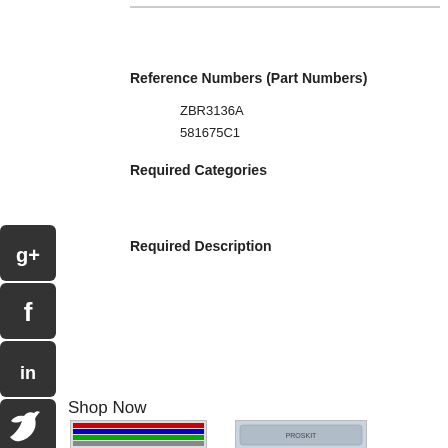Reference Numbers (Part Numbers)
ZBR3136A
581675C1
Required Categories
Required Description
Shop Now
[Figure (photo): Product image 1 - assorted electronic components kit]
[Figure (photo): Product image 2 - electronics kit in carrying case]